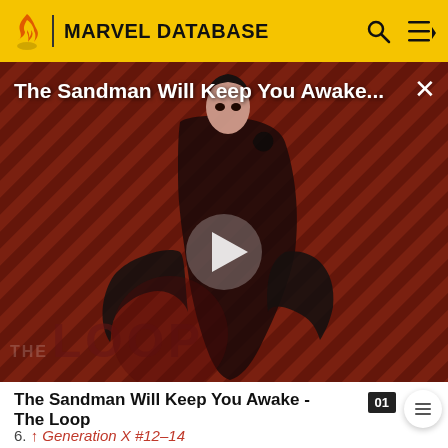MARVEL DATABASE
[Figure (screenshot): Video thumbnail showing a dark-cloaked figure against a red diagonal stripe background with THE LOOP watermark and a play button. Title overlay reads 'The Sandman Will Keep You Awake...']
The Sandman Will Keep You Awake - The Loop
6. ↑ Generation X #12-14
7. ↑ Generation X #31
8. ↑ Generation X #57-58
9. ↑ Generation X #69